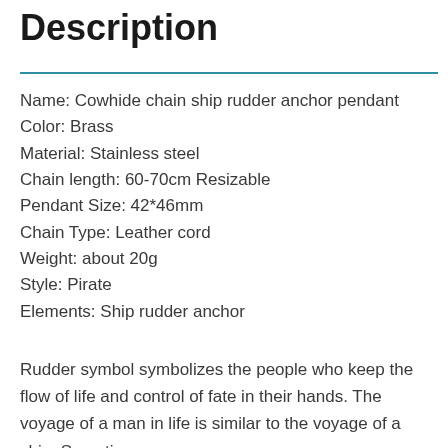Description
Name: Cowhide chain ship rudder anchor pendant
Color: Brass
Material: Stainless steel
Chain length: 60-70cm Resizable
Pendant Size: 42*46mm
Chain Type: Leather cord
Weight: about 20g
Style: Pirate
Elements: Ship rudder anchor
Rudder symbol symbolizes the people who keep the flow of life and control of fate in their hands. The voyage of a man in life is similar to the voyage of a ship. Sometimes